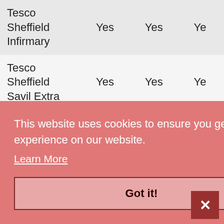| Store | Col1 | Col2 | Col3 |
| --- | --- | --- | --- |
| Tesco Sheffield Infirmary | Yes | Yes | Yes |
| Tesco Sheffield Savil Extra | Yes | Yes | Yes |
| Tesco Shepton Mallet | Yes | Yes | Yes |
| Tesco Shoreham Extra | Yes | Yes | Yes |
This website uses cookies to ensure you get the best experience on our website.
Learn More
Got it!